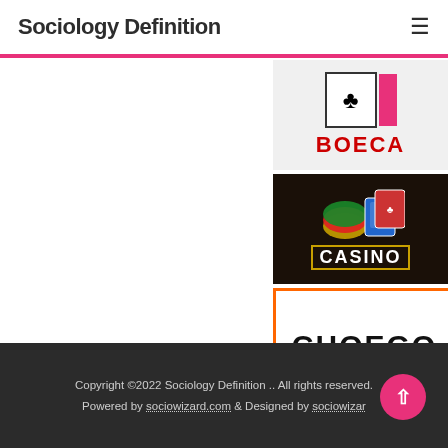Sociology Definition
[Figure (logo): BOECA logo with club card symbol and red text]
[Figure (logo): Casino logo with chips/cards on dark background]
[Figure (logo): CHOEGO bold text logo with orange border]
[Figure (logo): Dice/W logo with teal diamond shape on dark background]
Copyright ©2022 Sociology Definition .. All rights reserved. Powered by sociowizard.com & Designed by sociowizard.com